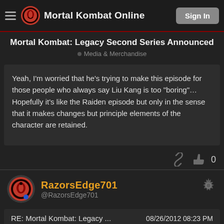Mortal Kombat Online — Sign In
Mortal Kombat: Legacy Second Series Announced
Media & Merchandise
Yeah, I'm worried that he's trying to make this episode for those people who always say Liu Kang is too "boring"…Hopefully it's like the Raiden episode but only in the sense that it makes changes but principle elements of the character are retained.
RazorsEdge701 @RazorsEdge701
RE: Mortal Kombat: Legacy ... 08/26/2012 08:23 PM